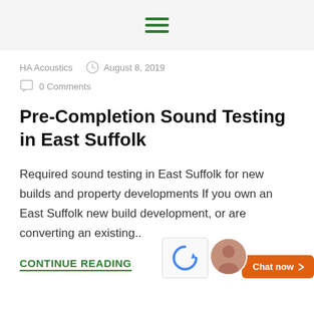☰ (hamburger menu icon)
HA Acoustics  August 8, 2019  0 Comments
Pre-Completion Sound Testing in East Suffolk
Required sound testing in East Suffolk for new builds and property developments If you own an East Suffolk new build development, or are converting an existing..
CONTINUE READING